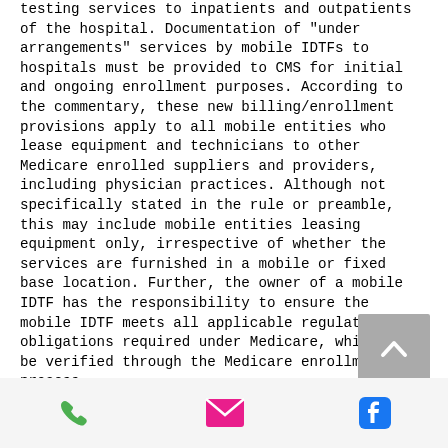testing services to inpatients and outpatients of the hospital. Documentation of "under arrangements" services by mobile IDTFs to hospitals must be provided to CMS for initial and ongoing enrollment purposes. According to the commentary, these new billing/enrollment provisions apply to all mobile entities who lease equipment and technicians to other Medicare enrolled suppliers and providers, including physician practices. Although not specifically stated in the rule or preamble, this may include mobile entities leasing equipment only, irrespective of whether the services are furnished in a mobile or fixed base location. Further, the owner of a mobile IDTF has the responsibility to ensure the mobile IDTF meets all applicable regulatory obligations required under Medicare, which will be verified through the Medicare enrollment process.
[Figure (other): Scroll-to-top button with upward chevron arrow on grey background]
[Figure (other): Bottom navigation bar with phone icon (green), email/envelope icon (pink), and Facebook icon (blue)]